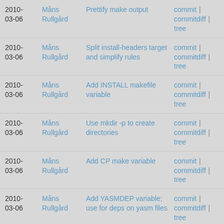2010-03-06 | Måns Rullgård | Prettify make output | commit | commitdiff | tree
2010-03-06 | Måns Rullgård | Split install-headers target and simplify rules | commit | commitdiff | tree
2010-03-06 | Måns Rullgård | Add INSTALL makefile variable | commit | commitdiff | tree
2010-03-06 | Måns Rullgård | Use mkdir -p to create directories | commit | commitdiff | tree
2010-03-06 | Måns Rullgård | Add CP make variable | commit | commitdiff | tree
2010-03-06 | Måns Rullgård | Add YASMDEP variable; use for deps on yasm files | commit | commitdiff | tree
2010-03-06 | Måns Rullgård | Move FFT parts from dsputil.h to fft.h | commit | commitdiff | tree